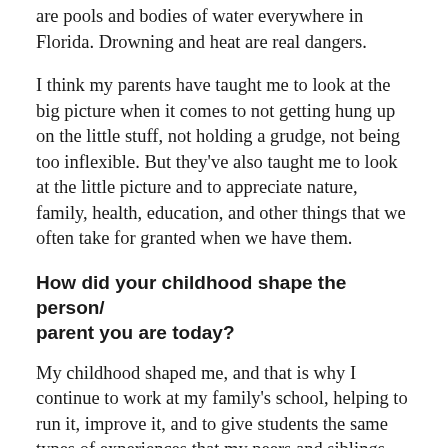are pools and bodies of water everywhere in Florida. Drowning and heat are real dangers.
I think my parents have taught me to look at the big picture when it comes to not getting hung up on the little stuff, not holding a grudge, not being too inflexible. But they've also taught me to look at the little picture and to appreciate nature, family, health, education, and other things that we often take for granted when we have them.
How did your childhood shape the person/parent you are today?
My childhood shaped me, and that is why I continue to work at my family's school, helping to run it, improve it, and to give students the same types of experiences that my peers and siblings and I were lucky enough to have growing up. My parents are both from big cities—Chicago and Detroit—but...